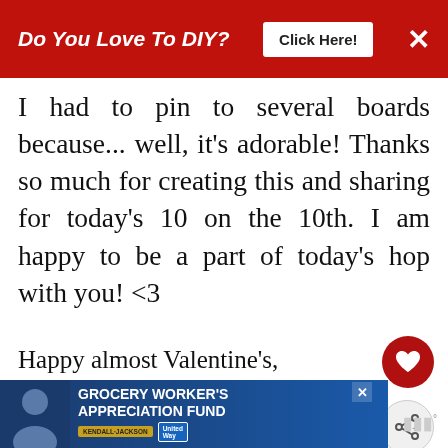[Figure (screenshot): Red banner advertisement: 'Do You Love To DIY? Click Here!' with X close button]
I had to pin to several boards because... well, it's adorable! Thanks so much for creating this and sharing for today's 10 on the 10th. I am happy to be a part of today's hop with you! <3
Happy almost Valentine's,
Hugs,
Barb :)
REPLY  DELETE
[Figure (infographic): What's Next arrow with thumbnail and text: Let It Snow Cutting Board]
REPLIES
[Figure (infographic): Advertisement banner: Grocery Worker's Appreciation Fund with Kendall Jackson and United Way logos]